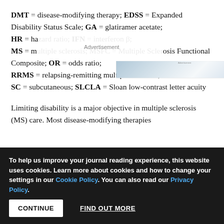DMT = disease-modifying therapy; EDSS = Expanded Disability Status Scale; GA = glatiramer acetate; HR = hazard ratio; IFN = interferon; MS = multiple sclerosis; MSFC = Multiple Sclerosis Functional Composite; OR = odds ratio; RRMS = relapsing-remitting multiple sclerosis; SC = subcutaneous; SLCLA = Sloan low-contrast letter acuity
Limiting disability is a major objective in multiple sclerosis (MS) care. Most disease-modifying therapies
To help us improve your journal reading experience, this website uses cookies. Learn more about cookies and how to change your settings in our Cookie Policy. You can also read our Privacy Policy.